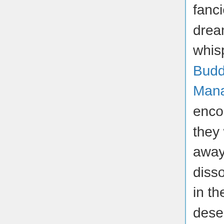fancies, day-dreams, whisperings of the Buddhi to the Manas. If we encourage them they will not fade away like a dissolving mirage in the Shamo desert, but grow stronger and stronger until one's whole life becomes the expression and outward proof of the divine motive